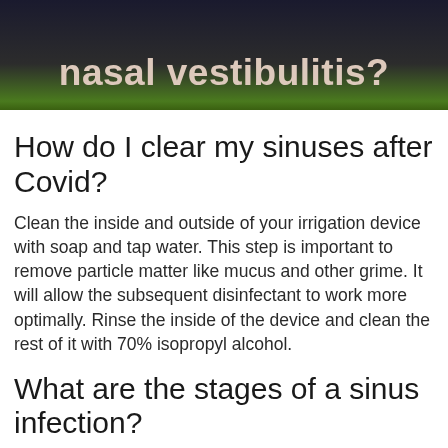[Figure (photo): Banner image with dark background and green stripe at bottom, text reading 'nasal vestibulitis?' in large bold pale letters]
How do I clear my sinuses after Covid?
Clean the inside and outside of your irrigation device with soap and tap water. This step is important to remove particle matter like mucus and other grime. It will allow the subsequent disinfectant to work more optimally. Rinse the inside of the device and clean the rest of it with 70% isopropyl alcohol.
What are the stages of a sinus infection?